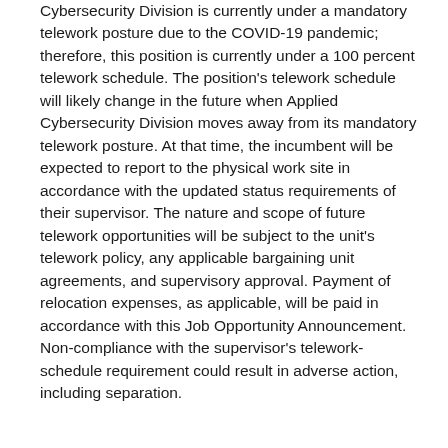Cybersecurity Division is currently under a mandatory telework posture due to the COVID-19 pandemic; therefore, this position is currently under a 100 percent telework schedule. The position's telework schedule will likely change in the future when Applied Cybersecurity Division moves away from its mandatory telework posture. At that time, the incumbent will be expected to report to the physical work site in accordance with the updated status requirements of their supervisor. The nature and scope of future telework opportunities will be subject to the unit's telework policy, any applicable bargaining unit agreements, and supervisory approval. Payment of relocation expenses, as applicable, will be paid in accordance with this Job Opportunity Announcement. Non-compliance with the supervisor's telework-schedule requirement could result in adverse action, including separation.